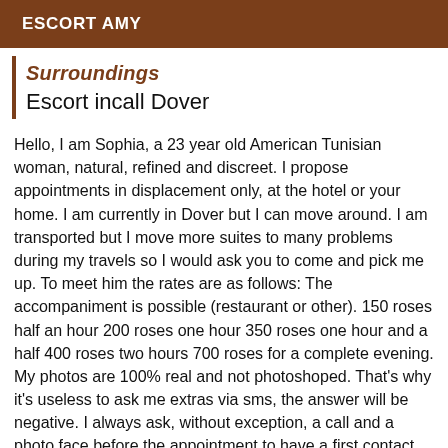ESCORT AMY
Surroundings
Escort incall Dover
Hello, I am Sophia, a 23 year old American Tunisian woman, natural, refined and discreet. I propose appointments in displacement only, at the hotel or your home. I am currently in Dover but I can move around. I am transported but I move more suites to many problems during my travels so I would ask you to come and pick me up. To meet him the rates are as follows: The accompaniment is possible (restaurant or other). 150 roses half an hour 200 roses one hour 350 roses one hour and a half 400 roses two hours 700 roses for a complete evening. My photos are 100% real and not photoshoped. That's why it's useless to ask me extras via sms, the answer will be negative. I always ask, without exception, a call and a photo face before the appointment to have a first contact, this condition is non-negotiable and essential. PS: I attach great importance